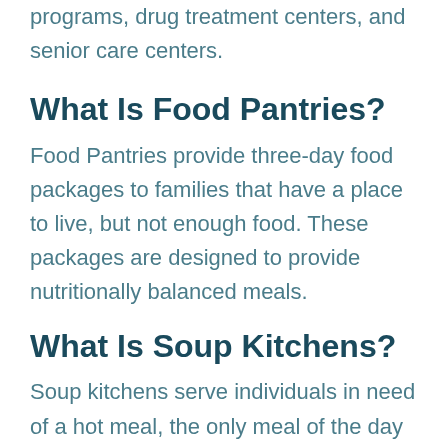such as food pantries, soup kitchens, meal programs, drug treatment centers, and senior care centers.
What Is Food Pantries?
Food Pantries provide three-day food packages to families that have a place to live, but not enough food. These packages are designed to provide nutritionally balanced meals.
What Is Soup Kitchens?
Soup kitchens serve individuals in need of a hot meal, the only meal of the day for many of